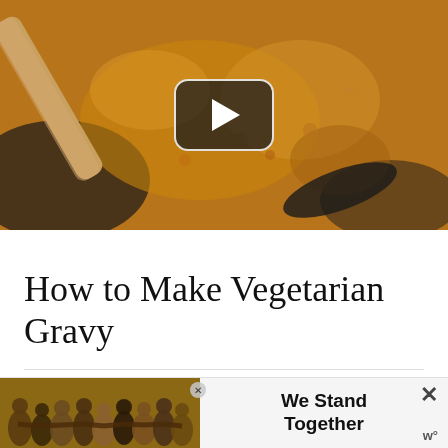[Figure (photo): Close-up photo of bubbling caramelized onions being stirred in a dark pan with a wooden spoon, with a video play button overlay in the center]
How to Make Vegetarian Gravy
First, cook the onions
[Figure (photo): Advertisement banner showing a group of people with arms around each other (seen from behind) with text 'We Stand Together' and a W logo]